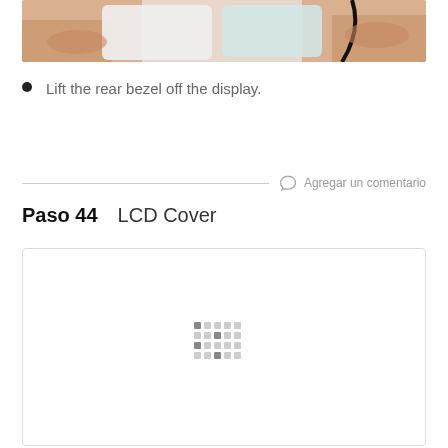[Figure (photo): Hands lifting the rear bezel off a display, shown from above on a white surface with a black cable visible]
Lift the rear bezel off the display.
Agregar un comentario
Paso 44    LCD Cover
[Figure (photo): Loading image placeholder with a pixelated spinner icon in the center of a white box with light border]